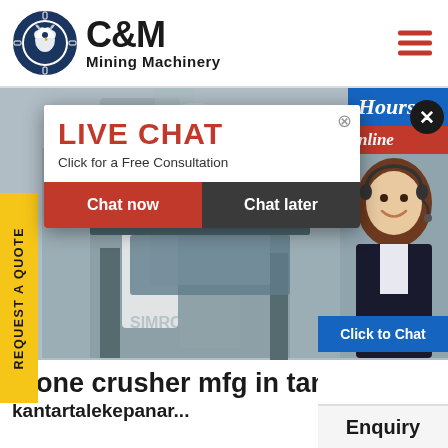[Figure (logo): C&M Mining Machinery logo with eagle/gear icon, company name in bold]
[Figure (photo): Factory/industrial background with workers in yellow hard hats, mining machinery visible]
REQUEST A QUOTE
[Figure (infographic): Live Chat popup overlay with red LIVE CHAT heading, 'Click for a Free Consultation' text, Chat now (red) and Chat later (dark) buttons]
Hours online
[Figure (photo): Customer service woman with headset smiling]
Click to Chat
stone crusher mfg in tan...
Enquiry